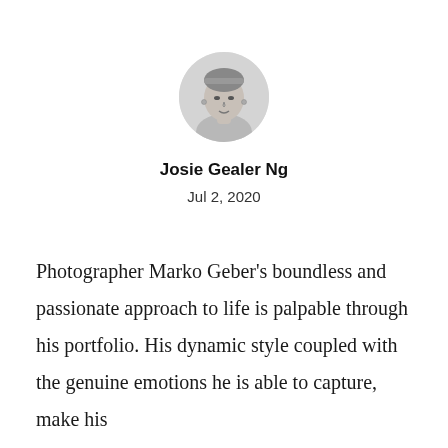[Figure (photo): Circular avatar portrait photo of a woman wearing a headband and earrings, shown in black and white.]
Josie Gealer Ng
Jul 2, 2020
Photographer Marko Geber's boundless and passionate approach to life is palpable through his portfolio. His dynamic style coupled with the genuine emotions he is able to capture, make his